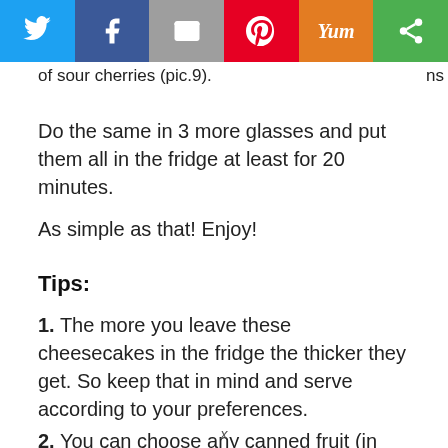[Figure (other): Social share bar with Twitter, Facebook, Email, Pinterest, Yummly, and another sharing icon buttons]
ns of sour cherries (pic.9).
Do the same in 3 more glasses and put them all in the fridge at least for 20 minutes.
As simple as that! Enjoy!
Tips:
1. The more you leave these cheesecakes in the fridge the thicker they get. So keep that in mind and serve according to your preferences.
2. You can choose any canned fruit (in syrup) you prefer for garnishing.